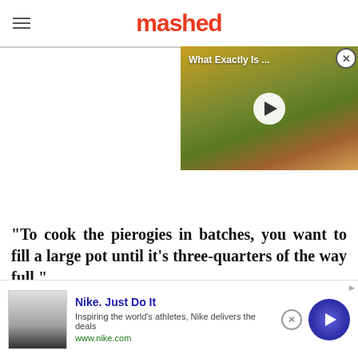mashed
[Figure (screenshot): Video thumbnail showing a sandwich with text 'What Exactly Is ...' and a play button overlay]
"To cook the pierogies in batches, you want to fill a large pot until it's three-quarters of the way full,"
[Figure (infographic): Nike advertisement: 'Nike. Just Do It' - Inspiring the world's athletes, Nike delivers the deals. www.nike.com]